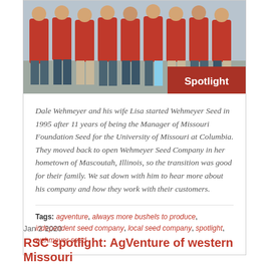[Figure (photo): Group photo of people wearing red shirts standing in a row, cropped at torso/waist level]
Dale Wehmeyer and his wife Lisa started Wehmeyer Seed in 1995 after 11 years of being the Manager of Missouri Foundation Seed for the University of Missouri at Columbia. They moved back to open Wehmeyer Seed Company in her hometown of Mascoutah, Illinois, so the transition was good for their family. We sat down with him to hear more about his company and how they work with their customers.
Tags: agventure, always more bushels to produce, independent seed company, local seed company, spotlight, wehmeyer seed
Jan 2 2020
RSC spotlight: AgVenture of western Missouri